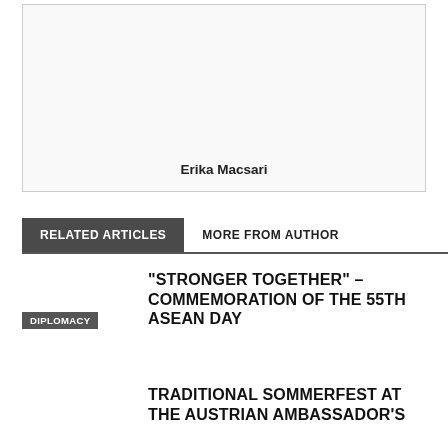[Figure (photo): Photo placeholder with caption 'Erika Macsari']
Erika Macsari
RELATED ARTICLES
MORE FROM AUTHOR
DIPLOMACY
“STRONGER TOGETHER” – COMMEMORATION OF THE 55TH ASEAN DAY
TRADITIONAL SOMMERFEST AT THE AUSTRIAN AMBASSADOR’S